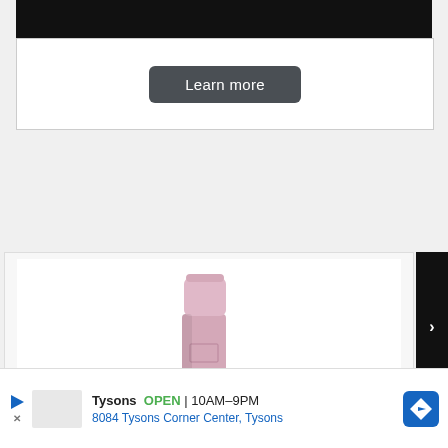[Figure (screenshot): Black banner bar at top of a webpage card]
[Figure (screenshot): White card section with a dark grey 'Learn more' button centered inside]
[Figure (photo): Product card showing a pink cylindrical cosmetic bottle/container on white background]
[Figure (screenshot): Advertisement bar at bottom: Tysons store, OPEN 10AM-9PM, 8084 Tysons Corner Center, Tysons, with navigation icon]